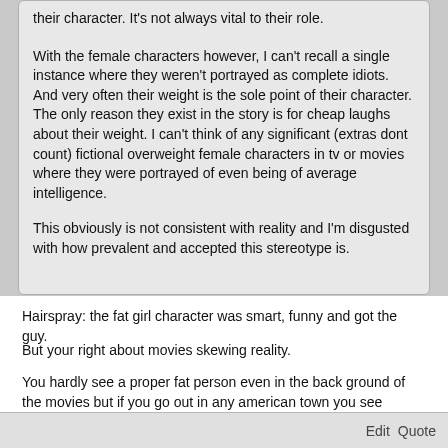their character. It's not always vital to their role.
With the female characters however, I can't recall a single instance where they weren't portrayed as complete idiots. And very often their weight is the sole point of their character. The only reason they exist in the story is for cheap laughs about their weight. I can't think of any significant (extras dont count) fictional overweight female characters in tv or movies where they were portrayed of even being of average intelligence.
This obviously is not consistent with reality and I'm disgusted with how prevalent and accepted this stereotype is.
Hairspray: the fat girl character was smart, funny and got the guy.
But your right about movies skewing reality.
You hardly see a proper fat person even in the back ground of the movies but if you go out in any american town you see people waddling around that challenge sauropods for the title of largest ever land dweller.
Edit   Quote